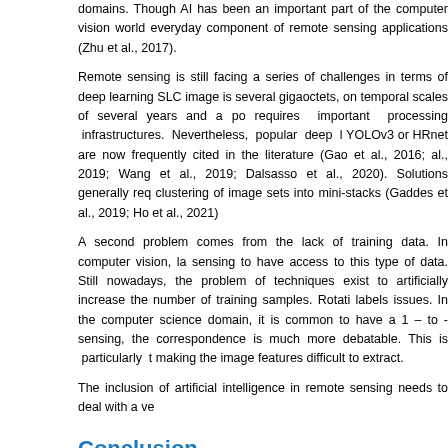domains. Though AI has been an important part of the computer vision world everyday component of remote sensing applications (Zhu et al., 2017).
Remote sensing is still facing a series of challenges in terms of deep learning SLC image is several gigaoctets, on temporal scales of several years and a po requires important processing infrastructures. Nevertheless, popular deep l YOLOv3 or HRnet are now frequently cited in the literature (Gao et al., 2016; al., 2019; Wang et al., 2019; Dalsasso et al., 2020). Solutions generally req clustering of image sets into mini-stacks (Gaddes et al., 2019; Ho et al., 2021)
A second problem comes from the lack of training data. In computer vision, la sensing to have access to this type of data. Still nowadays, the problem o techniques exist to artificially increase the number of training samples. Rotati labels issues. In the computer science domain, it is common to have a 1 – to - sensing, the correspondence is much more debatable. This is particularly t making the image features difficult to extract.
The inclusion of artificial intelligence in remote sensing needs to deal with a ve
Conclusion
Synthetic Aperture Radar is a unique branch of remote sensing. The spec particular. More specifically, a prior focusing operation is mandatory, contrary t wavelength employed, radar is able to penetrate through clouds and with the characteristics of the ground. In this paper, we summarized the basic concepts
In a second part, we presented the different sensors that are used nowada